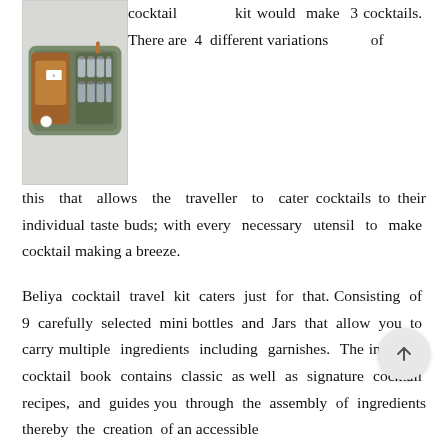[Figure (photo): Open travel cocktail kit case in olive green and brown leather, containing mini bottles and tools]
cocktail kit would make 3 cocktails. There are 4 different variations of this that allows the traveller to cater cocktails to their individual taste buds; with every necessary utensil to make cocktail making a breeze.
Beliya cocktail travel kit caters just for that. Consisting of 9 carefully selected mini bottles and Jars that allow you to carry multiple ingredients including garnishes. The included cocktail book contains classic as well as signature cocktail recipes, and guides you through the assembly of ingredients thereby the creation of an accessible